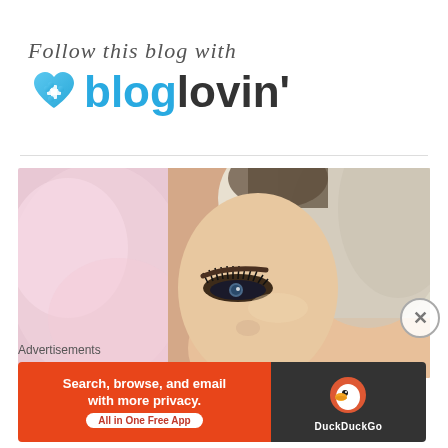[Figure (logo): Bloglovin logo with cursive text 'Follow this blog with' above and heart icon next to 'bloglovin\'' text]
[Figure (photo): Close-up photo of a woman with platinum blonde hair, dramatic eye makeup, long lashes, against a pink fluffy background]
Advertisements
[Figure (infographic): DuckDuckGo advertisement banner: orange left side with text 'Search, browse, and email with more privacy. All in One Free App', dark right side with DuckDuckGo duck logo]